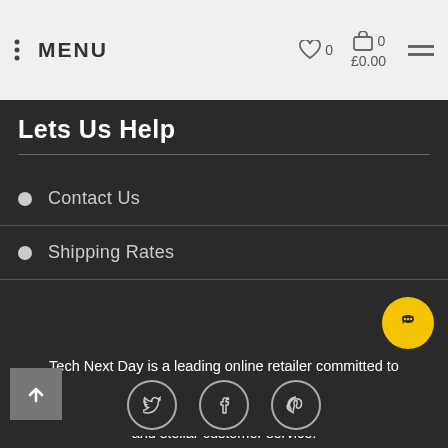MENU | 0 (heart) | 0 (cart) £0.00 | hamburger menu
Lets Us Help
Contact Us
Shipping Rates
Tech Next Day is a leading online retailer committed to becoming the most trusted on the web. We tirelessly pursue our goals by offering a superior shopping experience, rapid delivery and stellar customer service.
Tech Next Day proudly earns the loyalty of tech-enthusiasts and mainstream e-shoppers alike.